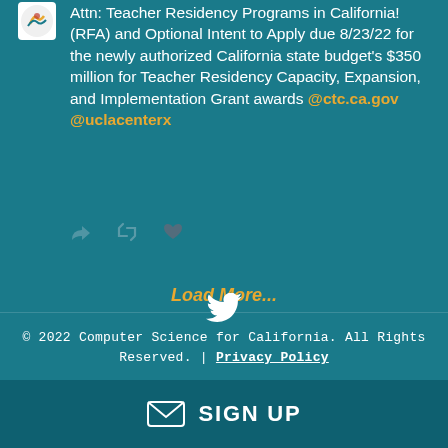[Figure (logo): Small square logo with colorful design on white background]
Attn: Teacher Residency Programs in California! (RFA) and Optional Intent to Apply due 8/23/22 for the newly authorized California state budget's $350 million for Teacher Residency Capacity, Expansion, and Implementation Grant awards @ctc.ca.gov @uclacenterx
[Figure (other): Twitter action icons: reply, retweet, like]
Load More...
© 2022 Computer Science for California. All Rights Reserved. | Privacy Policy
[Figure (other): White Twitter bird icon]
SIGN UP